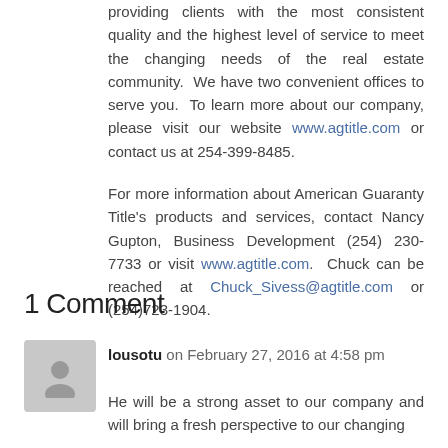providing clients with the most consistent quality and the highest level of service to meet the changing needs of the real estate community.  We have two convenient offices to serve you.  To learn more about our company, please visit our website www.agtitle.com or contact us at 254-399-8485.
For more information about American Guaranty Title's products and services, contact Nancy Gupton, Business Development (254) 230-7733 or visit www.agtitle.com.  Chuck can be reached at Chuck_Sivess@agtitle.com or (254)723-1904.
1 Comment
lousotu on February 27, 2016 at 4:58 pm
[Figure (illustration): Gray avatar placeholder icon showing a generic person silhouette]
He will be a strong asset to our company and will bring a fresh perspective to our changing